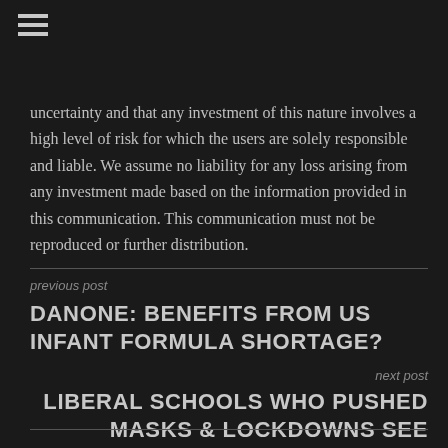☰
uncertainty and that any investment of this nature involves a high level of risk for which the users are solely responsible and liable. We assume no liability for any loss arising from any investment made based on the information provided in this communication. This communication must not be reproduced or further distribution.
previous post
DANONE: BENEFITS FROM US INFANT FORMULA SHORTAGE?
next post
LIBERAL SCHOOLS WHO PUSHED MASKS & LOCKDOWNS SEE MASSIVE ENROLLMENT DROP